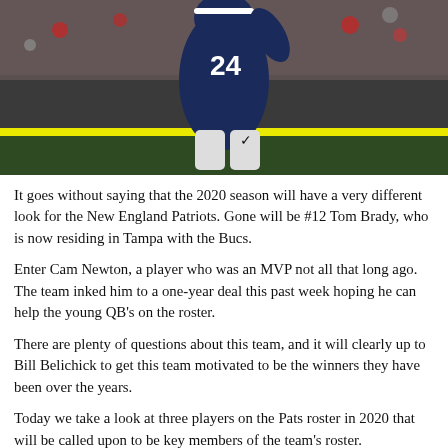[Figure (photo): A New England Patriots player wearing jersey #24 in navy blue uniform jumping or in motion on the football field. A yellow first-down marker line is visible in the background along with a crowd of spectators.]
It goes without saying that the 2020 season will have a very different look for the New England Patriots. Gone will be #12 Tom Brady, who is now residing in Tampa with the Bucs.
Enter Cam Newton, a player who was an MVP not all that long ago. The team inked him to a one-year deal this past week hoping he can help the young QB's on the roster.
There are plenty of questions about this team, and it will clearly up to Bill Belichick to get this team motivated to be the winners they have been over the years.
Today we take a look at three players on the Pats roster in 2020 that will be called upon to be key members of the team's roster.
1. Cam Newton, QB